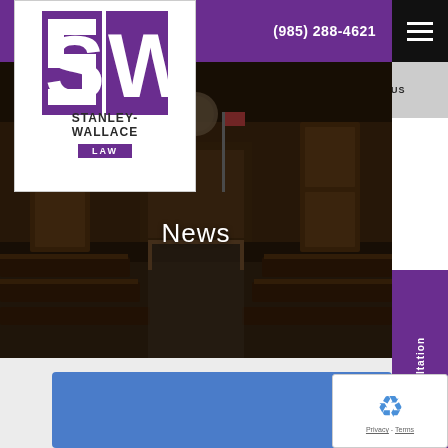(985) 288-4621
[Figure (logo): Stanley-Wallace Law firm logo with stylized SW letters in purple and white box]
CLIENT LOG IN | FOLLOW US
[Figure (photo): Interior of a courtroom with wooden pews, judge's bench, and American flag]
News
Schedule a Consultation
[Figure (illustration): Blue card section below hero image]
[Figure (other): reCAPTCHA widget with Privacy and Terms links]